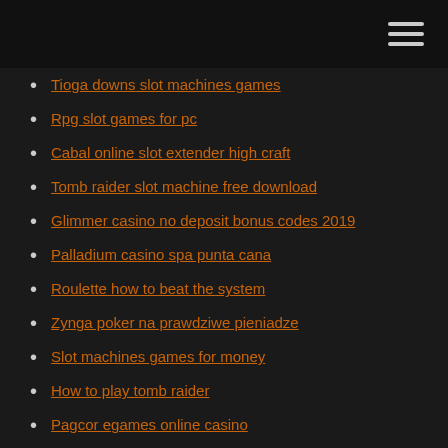Tioga downs slot machines games
Rpg slot games for pc
Cabal online slot extender high craft
Tomb raider slot machine free download
Glimmer casino no deposit bonus codes 2019
Palladium casino spa punta cana
Roulette how to beat the system
Zynga poker na prawdziwe pieniadze
Slot machines games for money
How to play tomb raider
Pagcor egames online casino
Costume lady gaga poker face
Rivers casino pittsburgh veterans day
Clams casino instrumental mixtape 1 download